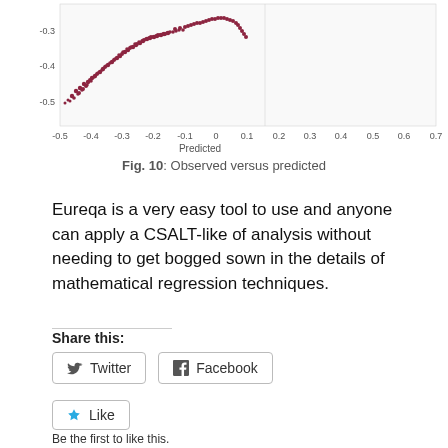[Figure (continuous-plot): Scatter/density plot showing observed versus predicted values. Dark red/maroon dots form a curved cluster. X-axis labeled 'Predicted' ranges from -0.5 to 0.7. Y-axis (unlabeled, visible) ranges from approximately -0.5 to -0.3.]
Fig. 10: Observed versus predicted
Eureqa is a very easy tool to use and anyone can apply a CSALT-like of analysis without needing to get bogged sown in the details of mathematical regression techniques.
Share this:
Twitter
Facebook
Like
Be the first to like this.